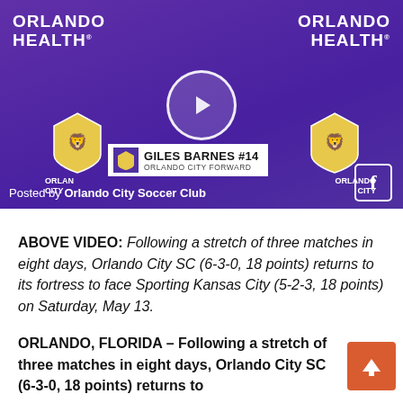[Figure (screenshot): Video thumbnail showing Orlando City SC player Giles Barnes #14 being interviewed in front of a purple Orlando Health / Orlando City SC backdrop. A play button circle is visible in the center. Lower bar reads 'GILES BARNES #14 ORLANDO CITY FORWARD'. Bottom left reads 'Posted by Orlando City Soccer Club'. Facebook icon at bottom right.]
ABOVE VIDEO: Following a stretch of three matches in eight days, Orlando City SC (6-3-0, 18 points) returns to its fortress to face Sporting Kansas City (5-2-3, 18 points) on Saturday, May 13.
ORLANDO, FLORIDA – Following a stretch of three matches in eight days, Orlando City SC (6-3-0, 18 points) returns to